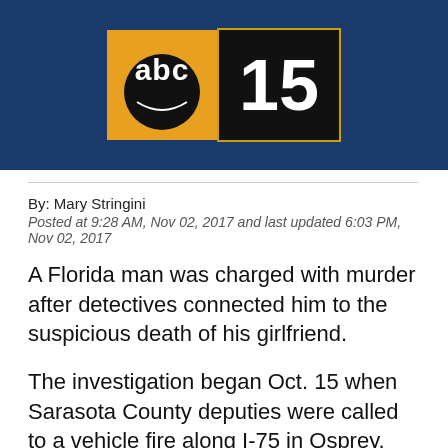[Figure (logo): ABC 15 news logo on dark blue background with orange and black logo blocks]
By: Mary Stringini
Posted at 9:28 AM, Nov 02, 2017 and last updated 6:03 PM, Nov 02, 2017
A Florida man was charged with murder after detectives connected him to the suspicious death of his girlfriend.
The investigation began Oct. 15 when Sarasota County deputies were called to a vehicle fire along I-75 in Osprey. When deputies arrived, they found a minivan